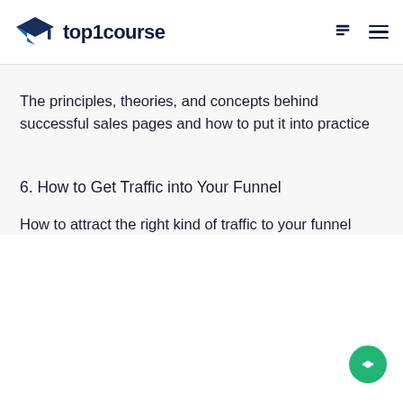top1course
The principles, theories, and concepts behind successful sales pages and how to put it into practice
6. How to Get Traffic into Your Funnel
How to attract the right kind of traffic to your funnel